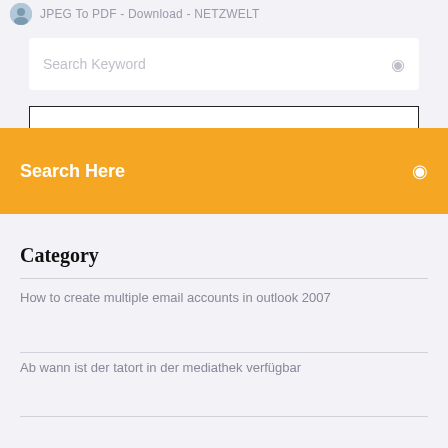JPEG To PDF - Download - NETZWELT
Search Keyword
Search Here
Category
How to create multiple email accounts in outlook 2007
Ab wann ist der tatort in der mediathek verfügbar